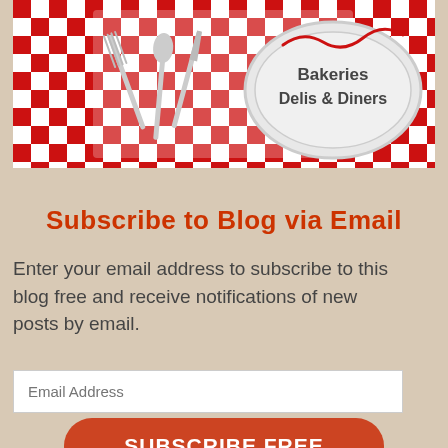[Figure (illustration): Blog banner image with red and white checkered tablecloth pattern, silverware (fork, knife, spoon) on the left, and a plate/oval label on the right with text 'Bakeries Delis & Diners']
Subscribe to Blog via Email
Enter your email address to subscribe to this blog free and receive notifications of new posts by email.
Email Address
SUBSCRIBE FREE
Books by Jean Carnahan